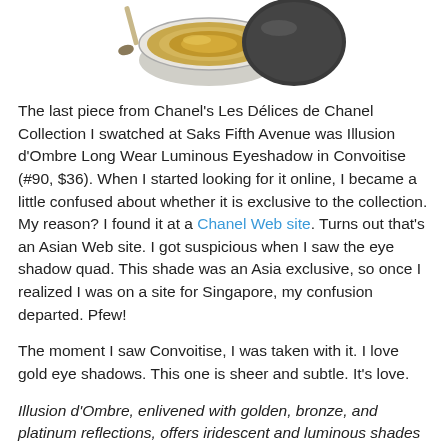[Figure (photo): Product photo of Chanel Illusion d'Ombre eyeshadow compact, showing a golden shimmer shadow in a round clear-lidded jar with a dark lid partially open]
The last piece from Chanel's Les Délices de Chanel Collection I swatched at Saks Fifth Avenue was Illusion d'Ombre Long Wear Luminous Eyeshadow in Convoitise (#90, $36). When I started looking for it online, I became a little confused about whether it is exclusive to the collection. My reason? I found it at a Chanel Web site. Turns out that's an Asian Web site. I got suspicious when I saw the eye shadow quad. This shade was an Asia exclusive, so once I realized I was on a site for Singapore, my confusion departed. Pfew!
The moment I saw Convoitise, I was taken with it. I love gold eye shadows. This one is sheer and subtle. It's love.
Illusion d'Ombre, enlivened with golden, bronze, and platinum reflections, offers iridescent and luminous shades to style your eyes to the extreme or simply caress them with a halo of pearly particles.